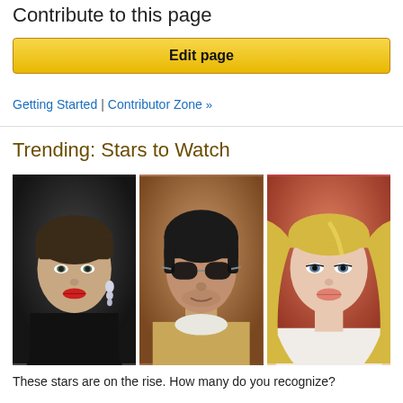Contribute to this page
Edit page
Getting Started | Contributor Zone »
Trending: Stars to Watch
[Figure (photo): Three celebrity headshot photos side by side: a young woman with short brown hair and red lipstick, a man with dark hair wearing sunglasses, and a blonde woman.]
These stars are on the rise. How many do you recognize?